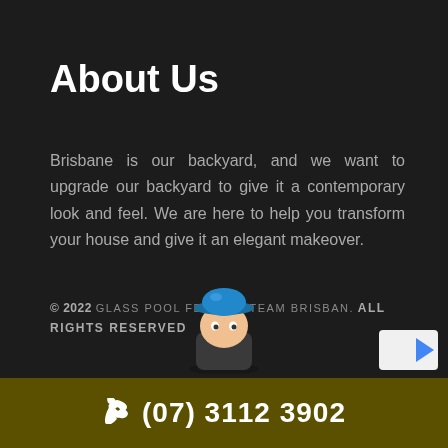About Us
Brisbane is our backyard, and we want to upgrade our backyard to give it a contemporary look and feel. We are here to help you transform your house and give it an elegant makeover.
© 2022 GLASS POOL FENCING TEAM BRISBAN. ALL RIGHTS RESERVED
[Figure (illustration): Cartoon mascot character wearing a blue hard hat, partially visible at the bottom center of the dark background area]
[Figure (other): Partial reCAPTCHA badge visible at bottom right]
(07) 3112 3902